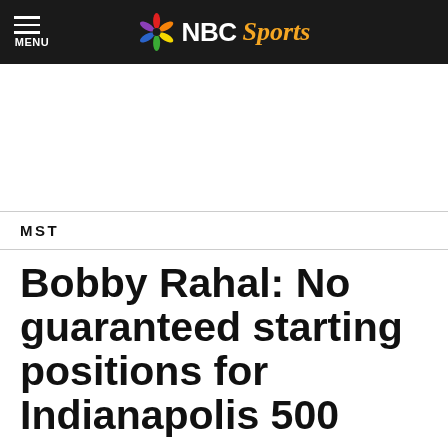NBC Sports — MENU
[Figure (logo): NBC Sports logo with peacock icon, white NBC text and gold italic Sports text on dark background]
MST
Bobby Rahal: No guaranteed starting positions for Indianapolis 500
By Bruce Martin — May 17, 2019, 4:10 PM EDT